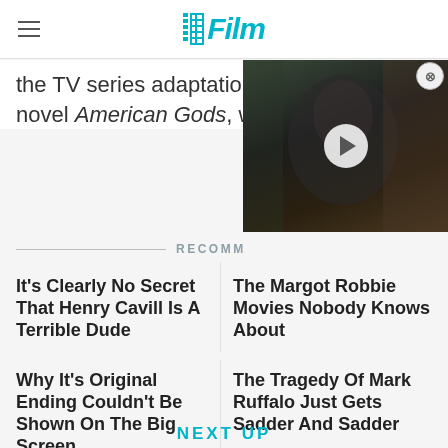/Film
the TV series adaptation of novel American Gods, whic
[Figure (screenshot): Video overlay thumbnail showing a man's face in dark lighting with a play button overlay]
RECOMM
It's Clearly No Secret That Henry Cavill Is A Terrible Dude
The Margot Robbie Movies Nobody Knows About
Why It's Original Ending Couldn't Be Shown On The Big Screen
The Tragedy Of Mark Ruffalo Just Gets Sadder And Sadder
NEXT UP